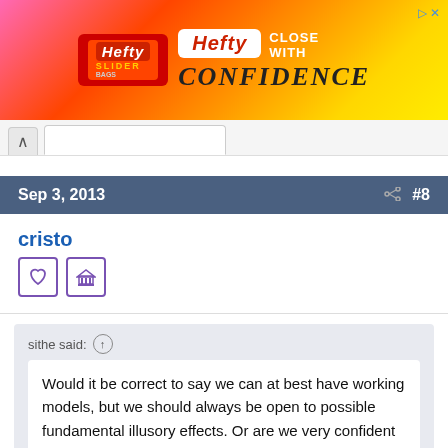[Figure (screenshot): Hefty Slider Bags advertisement banner with pink/orange/yellow gradient background. Shows Hefty logo, 'Close With Confidence' text.]
Sep 3, 2013  #8
cristo
[Figure (other): Two purple-bordered badge icons: a heart/shield icon and a building/institution icon]
sithe said: ↑
Would it be correct to say we can at best have working models, but we should always be open to possible fundamental illusory effects. Or are we very confident that no such fundamental errors exist.